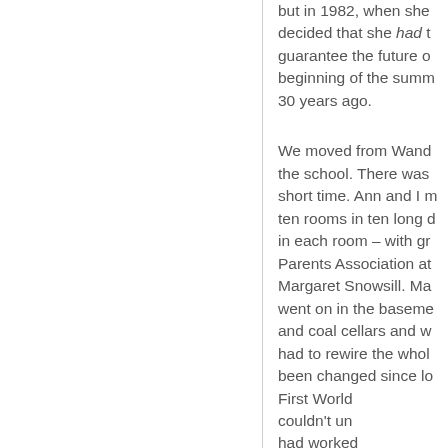but in 1982, when she decided that she had to guarantee the future of beginning of the summ 30 years ago.
We moved from Wand the school. There was short time. Ann and I m ten rooms in ten long d in each room – with gr Parents Association at Margaret Snowsill. Ma went on in the baseme and coal cellars and w had to rewire the whol been changed since lo First World couldn't un had worked central heating, renew